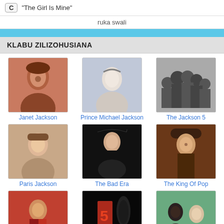C  "The Girl Is Mine"
ruka swali
KLABU ZILIZOHUSIANA
[Figure (photo): Profile photo of Janet Jackson]
Janet Jackson
[Figure (photo): Profile photo of Prince Michael Jackson]
Prince Michael Jackson
[Figure (photo): Group photo of The Jackson 5 in black and white]
The Jackson 5
[Figure (photo): Profile photo of Paris Jackson]
Paris Jackson
[Figure (photo): Photo of Michael Jackson in The Bad Era]
The Bad Era
[Figure (photo): Photo of The King Of Pop]
The King Of Pop
[Figure (photo): Photo of Michael Jackson in The Thriller Era]
The Thriller Era
[Figure (photo): Photo of MJ's This is it concert]
MJ's This is it
[Figure (photo): Photo of the jackson 3]
the jackson 3
klabu zaidi >>